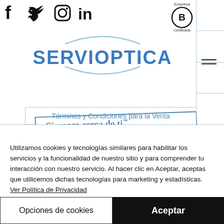[Figure (logo): Servioptica logo with circular arc design above and below the brand name, and tagline 'Siempre cerca de ti'. Social media icons (Facebook, Twitter, Instagram, LinkedIn) in top-left. B Corp Empresa Certificada badge top-right. Navigation boxes on right edge. Hamburger menu icon. Terms and Conditions link button.]
Utilizamos cookies y tecnologías similares para habilitar los servicios y la funcionalidad de nuestro sitio y para comprender tu interacción con nuestro servicio. Al hacer clic en Aceptar, aceptas que utilicemos dichas tecnologías para marketing y estadísticas. Ver Política de Privacidad
Opciones de cookies
Aceptar